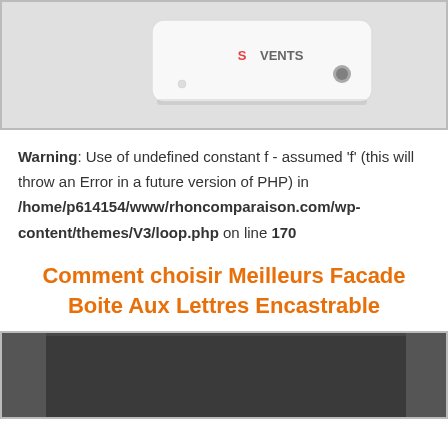[Figure (photo): Top portion of a white electronic device (appears to be a VMC/ventilation unit with a logo and speaker grille) shown against a light gray background with a border.]
Warning: Use of undefined constant f - assumed 'f' (this will throw an Error in a future version of PHP) in /home/p614154/www/rhoncomparaison.com/wp-content/themes/V3/loop.php on line 170
Comment choisir Meilleurs Facade Boite Aux Lettres Encastrable
[Figure (photo): Bottom portion of a dark gray/anthracite wall-mounted letterbox (facade boite aux lettres encastrable) with side panels visible, shown with a border.]